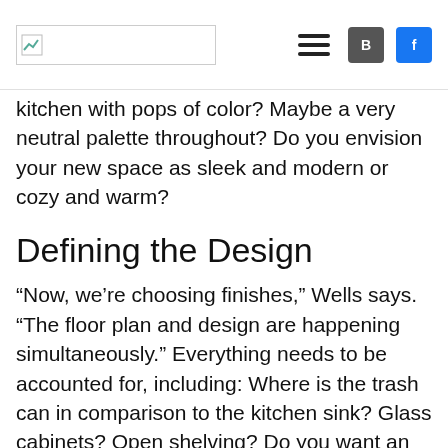[Logo image] [hamburger menu] [B button] [f button]
kitchen with pops of color? Maybe a very neutral palette throughout? Do you envision your new space as sleek and modern or cozy and warm?
Defining the Design
“Now, we’re choosing finishes,” Wells says. “The floor plan and design are happening simultaneously.” Everything needs to be accounted for, including: Where is the trash can in comparison to the kitchen sink? Glass cabinets? Open shelving? Do you want an appliance garage? Is there an area for a coffee bar? Stacked refrigerator or side-by-side?